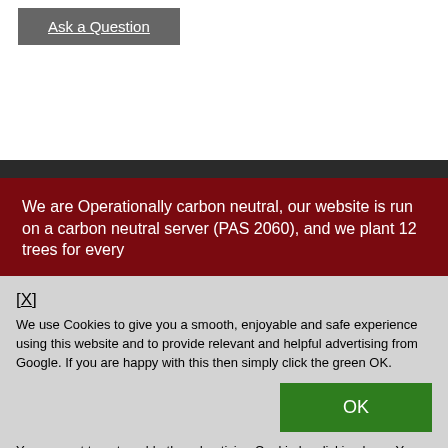Ask a Question
We are Operationally carbon neutral, our website is run on a carbon neutral server (PAS 2060), and we plant 12 trees for every
[X]
We use Cookies to give you a smooth, enjoyable and safe experience using this website and to provide relevant and helpful advertising from Google. If you are happy with this then simply click the green OK.
OK
You can opt to not enable the advertising Cookie by clicking here. You can learn more by reading our privacy policy.